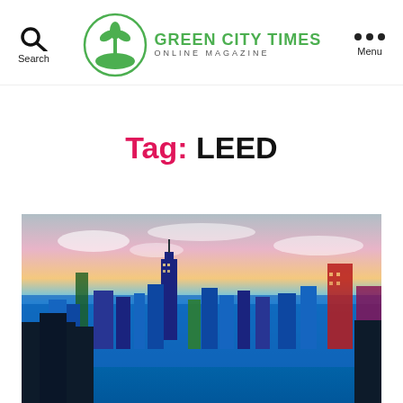Search | GREEN CITY TIMES ONLINE MAGAZINE | Menu
Tag: LEED
[Figure (photo): Aerial cityscape photo of Chicago skyline at dusk/sunset, showing skyscrapers including the Willis Tower, with Lake Michigan in the background reflecting pink and purple sunset sky.]